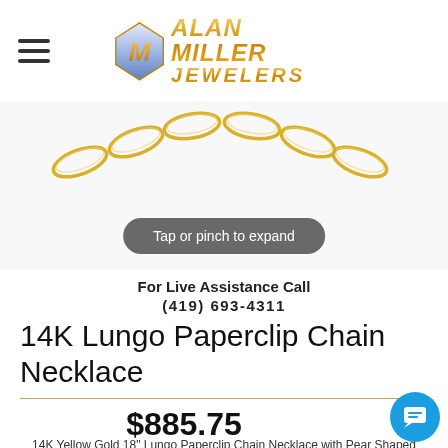[Figure (logo): Alan Miller Jewelers logo with diamond icon and gold stylized text]
[Figure (photo): 14K yellow gold Lungo Paperclip Chain Necklace product photo with 'Tap or pinch to expand' overlay button]
For Live Assistance Call
(419) 693-4311
14K Lungo Paperclip Chain Necklace
$885.75
14K Yellow Gold 18" Lungo Paperclip Chain Necklace with Pear Shaped